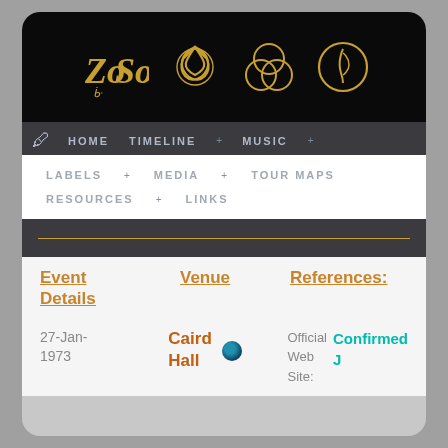[Figure (logo): Led Zeppelin symbols in gold on black background: Zoso sigil, triquetra, three-circle symbol, and feather/circle symbol]
HOME   TIMELINE +   MUSIC +
LABELS +   MEDIA +   TOUR MAPS
RESOURCES +   LINKS
Event Details   Venue   References:
27-Jan-1973   Caird Hall   Official Web Site:   Confirmed J